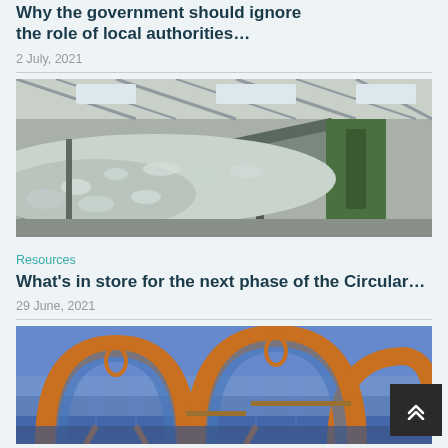Why the government should ignore the role of local authorities…
2 July, 2021
[Figure (photo): Industrial recycling facility conveyor belt loaded with crushed plastic bottles inside a large warehouse building]
Resources
What's in store for the next phase of the Circular…
29 June, 2021
[Figure (photo): Large industrial circular structures with blue glass panels and orange metallic frames at dusk]